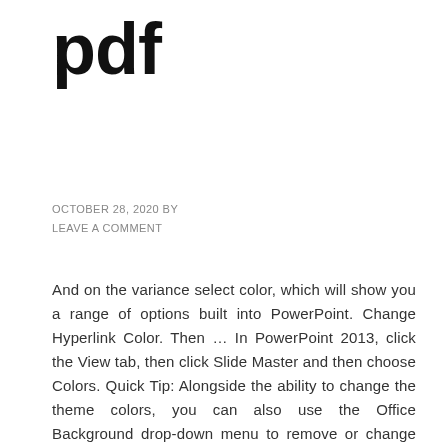pdf
OCTOBER 28, 2020 BY
LEAVE A COMMENT
And on the variance select color, which will show you a range of options built into PowerPoint. Change Hyperlink Color. Then … In PowerPoint 2013, click the View tab, then click Slide Master and then choose Colors. Quick Tip: Alongside the ability to change the theme colors, you can also use the Office Background drop-down menu to remove or change the background patterns. Click the box next to an item (such as "Accent 1") and then pick a color. Select the item on the chart that you'd like to change the … At the top, click Slide Change theme. If you don't like any of the choices, click the More Colors button. From the Design tab